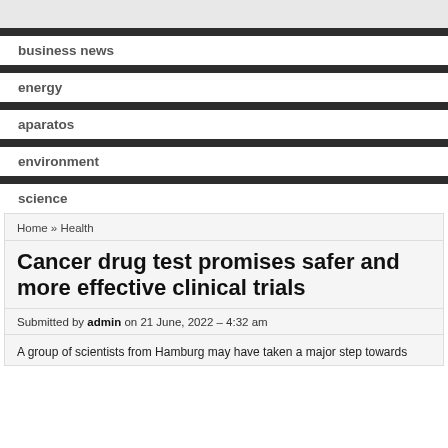business news
energy
aparatos
environment
science
Home » Health
Cancer drug test promises safer and more effective clinical trials
Submitted by admin on 21 June, 2022 – 4:32 am
A group of scientists from Hamburg may have taken a major step towards